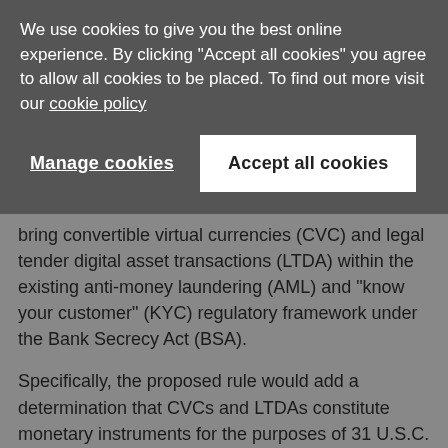We use cookies to give you the best online experience. By clicking "Accept all cookies" you agree to allow all cookies to be placed. To find out more visit our cookie policy
Manage cookies | Accept all cookies
bring convertible virtual currencies (CVC) and legal tender digital asset transactions (LTDA) within the existing anti-money laundering (AML) and "know your customer" (KYC) regulatory framework under the Bank Secrecy Act (BSA).
Specifically, the proposed rule would add a determination that CVCs and LTDAs constitute monetary instruments for the purposes of 31 U.S.C. 5313, which establishes the reporting requirements under the BSA,